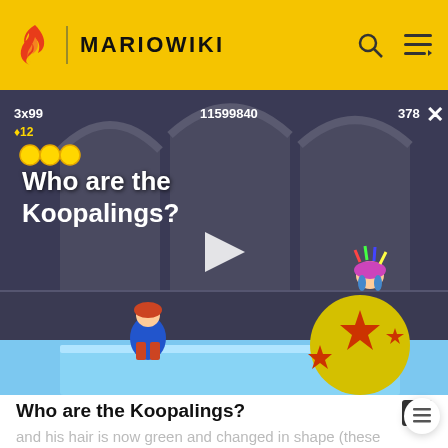MARIOWIKI
[Figure (screenshot): Video thumbnail showing a Mario game scene with the title 'Who are the Koopalings?' overlaid. Score display showing 3x99, 11599840, and 378. A blue character on the left and Lemmy Koopa on a large yellow star ball on the right. A play button in the center.]
Who are the Koopalings?
and his hair is now green and changed in shape (these changes were most likely done to make it easier to tell him apart from Lemmy). Likewise, Lemmy has obtained a blonde ponytail, and Larry has lost 2 of his four fangs.